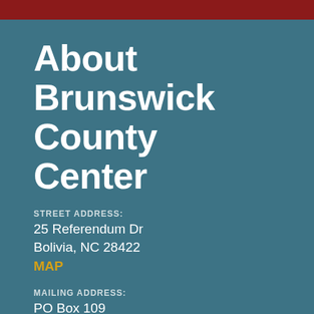About Brunswick County Center
STREET ADDRESS:
25 Referendum Dr
Bolivia, NC 28422
MAP
MAILING ADDRESS:
PO Box 109
Bolivia.' '. 28422
OFFICE HOURS:
MON-FRI 8:30A-5P